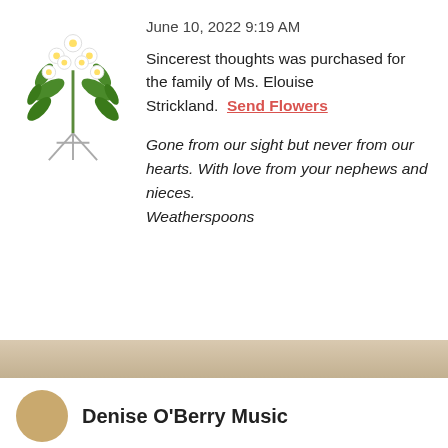[Figure (illustration): Floral arrangement on a stand with white flowers and green foliage]
June 10, 2022 9:19 AM
Sincerest thoughts was purchased for the family of Ms. Elouise Strickland.  Send Flowers
Gone from our sight but never from our hearts. With love from your nephews and nieces.
Weatherspoons
Denise O'Berry Music
Share a memory
Send Flowers
Plant a Tree